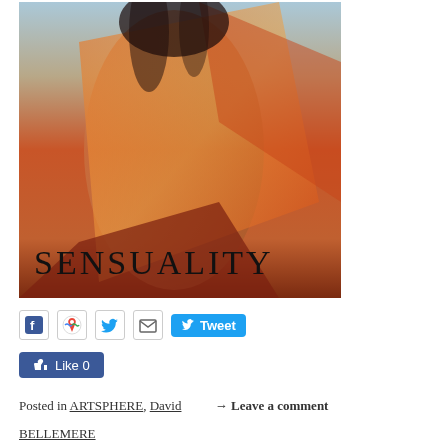[Figure (photo): Artistic fashion photograph of a woman draped in orange/red sheer fabric with text overlay reading SENSUALITY]
[Figure (screenshot): Social media sharing buttons row: Facebook, Google Maps/Plus, Twitter, Email icons, and a blue Tweet button]
[Figure (screenshot): Facebook Like button showing Like 0]
Posted in ARTSPHERE, David → Leave a comment
BELLEMERE